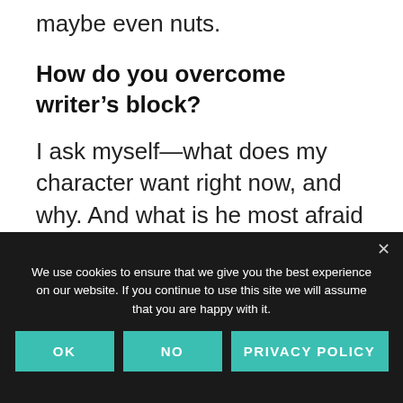maybe even nuts.
How do you overcome writer’s block?
I ask myself—what does my character want right now, and why. And what is he most afraid of right now? That usually gives me great ideas. Otherwise, sitting down to write a journal in the voice of my POV can usually get to the heart of the matter and
We use cookies to ensure that we give you the best experience on our website. If you continue to use this site we will assume that you are happy with it.
OK
NO
PRIVACY POLICY